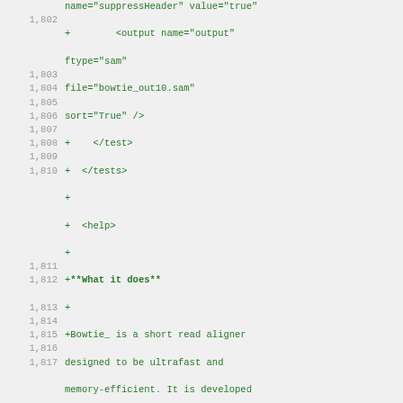Code diff showing XML configuration and help text for Bowtie short read aligner, lines 1,802-1,817
1,802  +        <output name="output" ftype="sam" file="bowtie_out10.sam" sort="True" />
1,803  +    </test>
1,804  +  </tests>
1,805  +
1,806  +  <help>
1,807  +
1,808  +**What it does**
1,809  +
1,810  +Bowtie_ is a short read aligner designed to be ultrafast and memory-efficient. It is developed by Ben Langmead and Cole Trapnell. Please cite: Langmead B, Trapnell C, Pop M, Salzberg SL. Ultrafast and memory-efficient alignment of short DNA sequences to the human genome. Genome Biology 10:R25.
1,811  +
1,812  +.. _Bowtie: http://bowtie-bio.sourceforge.net/index.shtml
1,813  +
1,814  +------
1,815  +
1,816  +**Know what you are doing**
1,817  +